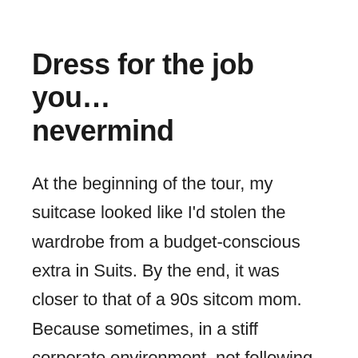Dress for the job you… nevermind
At the beginning of the tour, my suitcase looked like I'd stolen the wardrobe from a budget-conscious extra in Suits. By the end, it was closer to that of a 90s sitcom mom. Because sometimes, in a stiff corporate environment, not following the dress code will work to your advantage.
I started noticing early on that each and every